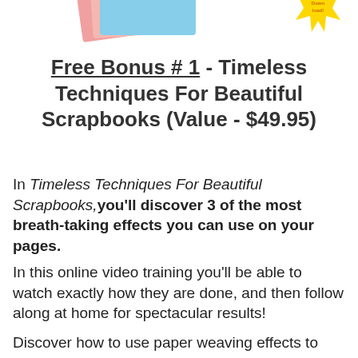[Figure (illustration): Partial view of scrapbooking materials (colored papers/notepads) with a yellow starburst 'Download' badge in upper right corner.]
Free Bonus # 1 - Timeless Techniques For Beautiful Scrapbooks (Value - $49.95)
In Timeless Techniques For Beautiful Scrapbooks, you'll discover 3 of the most breath-taking effects you can use on your pages.
In this online video training you'll be able to watch exactly how they are done, and then follow along at home for spectacular results!
Discover how to use paper weaving effects to